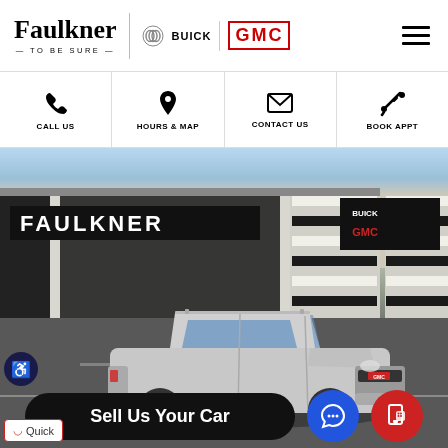[Figure (logo): Faulkner Buick GMC dealer logo with 'TO BE SURE' tagline, Buick trimark icon, and GMC red logo text]
[Figure (infographic): Navigation icon bar with four items: phone icon CALL US, map pin icon HOURS & MAP, envelope icon CONTACT US, wrench icon BOOK APPT separated by vertical dividers]
[Figure (photo): Faulkner Buick GMC dealership exterior photo showing building with FAULKNER sign and Buick GMC logo, with a silver GMC Terrain SUV parked in the foreground on the lot. Overlay shows 'Sell Us Your Car' black pill button, blue chat bubble button, and red phone/chat button.]
Quick
Sell Us Your Car